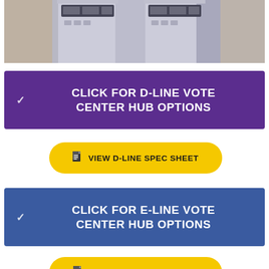[Figure (photo): Photo of voting machines/ballot equipment, grey machines with digital displays, cropped at top]
CLICK FOR D-LINE VOTE CENTER HUB OPTIONS
VIEW D-LINE SPEC SHEET
CLICK FOR E-LINE VOTE CENTER HUB OPTIONS
VIEW E-LINE SPEC SHEET